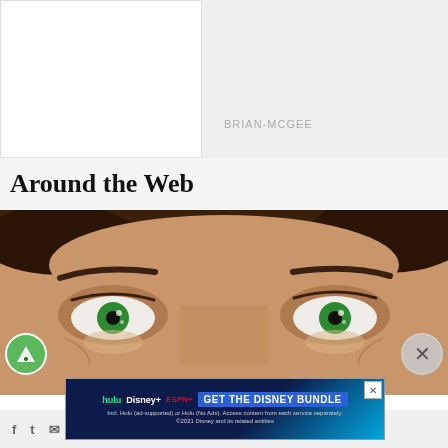BRIAN-MCGEE
Around the Web
[Figure (photo): Close-up photograph of a person's eyes with green irises, brown skin and dark eyebrows, brown hair visible]
[Figure (other): Disney Bundle advertisement banner: hulu, Disney+, ESPN+ logos with 'GET THE DISNEY BUNDLE' CTA button and fine print text]
f  t  [email icon]  [share icon]